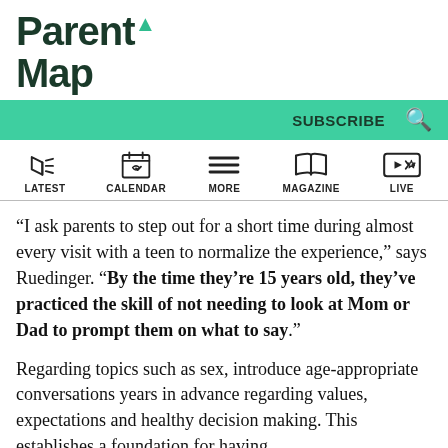[Figure (logo): ParentMap logo with green leaf accent]
SUBSCRIBE  🔍
[Figure (infographic): Navigation icons row: LATEST (megaphone), CALENDAR (calendar with heart), MORE (hamburger menu), MAGAZINE (open book), LIVE (ticket star)]
“I ask parents to step out for a short time during almost every visit with a teen to normalize the experience,” says Ruedinger. “By the time they’re 15 years old, they’ve practiced the skill of not needing to look at Mom or Dad to prompt them on what to say.”
Regarding topics such as sex, introduce age-appropriate conversations years in advance regarding values, expectations and healthy decision making. This establishes a foundation for having